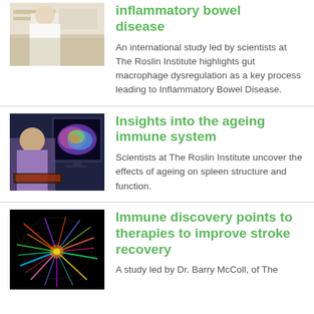[Figure (photo): Scientist in white lab coat working in laboratory]
inflammatory bowel disease
An international study led by scientists at The Roslin Institute highlights gut macrophage dysregulation as a key process leading to Inflammatory Bowel Disease.
[Figure (photo): Scientist at computer with colorful brain imaging display]
Insights into the ageing immune system
Scientists at The Roslin Institute uncover the effects of ageing on spleen structure and function.
[Figure (photo): Colorful neural/brain imaging scan on black background]
Immune discovery points to therapies to improve stroke recovery
A study led by Dr. Barry McColl, of The